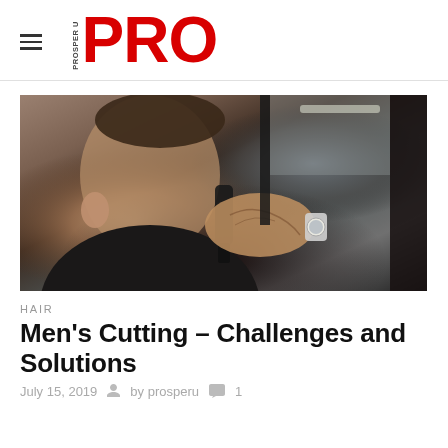PROSPER U PRO
[Figure (photo): Barber with tattooed hands using clippers on the back of a male client's neck, reflected in a mirror in a barbershop setting]
HAIR
Men's Cutting – Challenges and Solutions
July 15, 2019   by prosperu   1